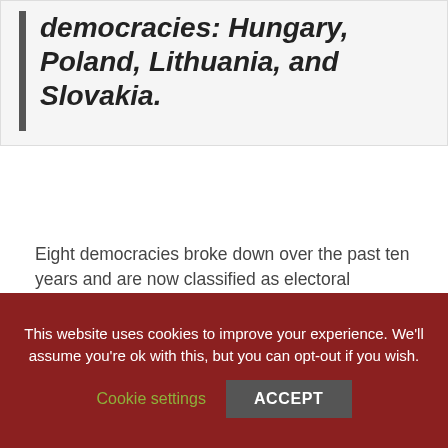democracies: Hungary, Poland, Lithuania, and Slovakia.
Eight democracies broke down over the past ten years and are now classified as electoral autocracies: Comoros, Honduras, Iraq, Nicaragua, Tanzania, Turkey, Ukraine, and Zambia. Four countries that used to be electoral democracies are now classified as closed: Palestine (West Bank), Syria, Yemen, and Uzbekistan.
This website uses cookies to improve your experience. We'll assume you're ok with this, but you can opt-out if you wish.
Cookie settings
ACCEPT